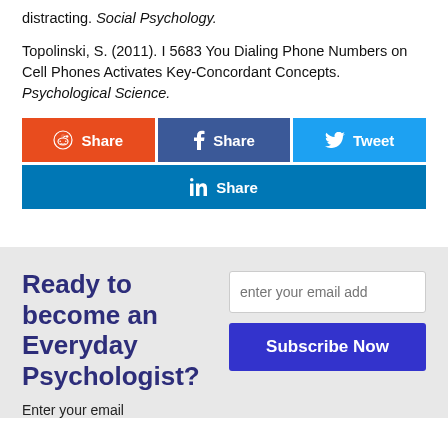distracting. Social Psychology.
Topolinski, S. (2011). I 5683 You Dialing Phone Numbers on Cell Phones Activates Key-Concordant Concepts. Psychological Science.
Share (Reddit) Share (Facebook) Tweet (Twitter) Share (LinkedIn)
Ready to become an Everyday Psychologist?
Enter your email
enter your email add
Subscribe Now